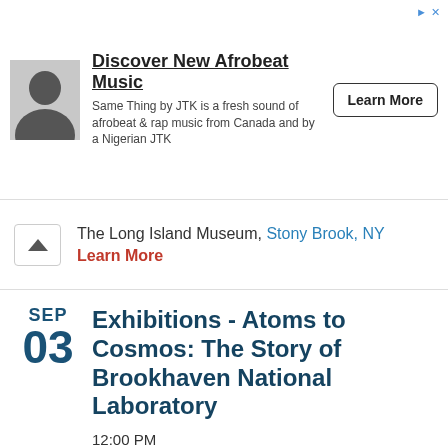[Figure (other): Advertisement banner for 'Discover New Afrobeat Music'. Contains a silhouette avatar icon, ad title, description text, and Learn More button.]
The Long Island Museum, Stony Brook, NY
Learn More
SEP
03
Exhibitions - Atoms to Cosmos: The Story of Brookhaven National Laboratory
12:00 PM
The Long Island Museum, Stony Brook, NY
Learn More
SEP
03
Jake Owen
7:00 PM
Long Island Community Hospital